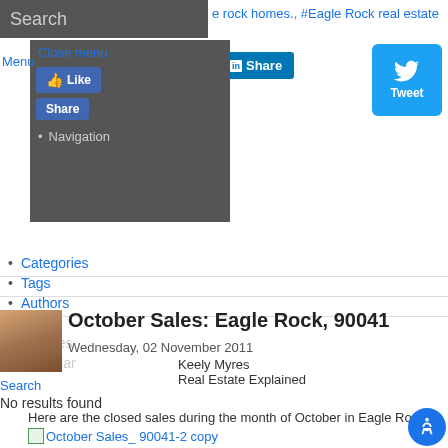Search
e rock homes., #Eagle Rock real estate
Close menu
Menu
[Figure (screenshot): LinkedIn Share button]
[Figure (screenshot): Twitter Tweet button]
0
[Figure (screenshot): Pinterest Save button]
[Figure (screenshot): Facebook Like and Share buttons]
Navigation
Categories
Tags
Authors
Items
Archives
Calendar
[Figure (photo): Author photo of Keely Myres]
October Sales: Eagle Rock, 90041
Wednesday, 02 November 2011
Keely Myres
Real Estate Explained
Search
No results found
Here are the closed sales during the month of October in Eagle Rock*:
October Sales_ 90041-2 copy
[Figure (other): Accessibility button icon]